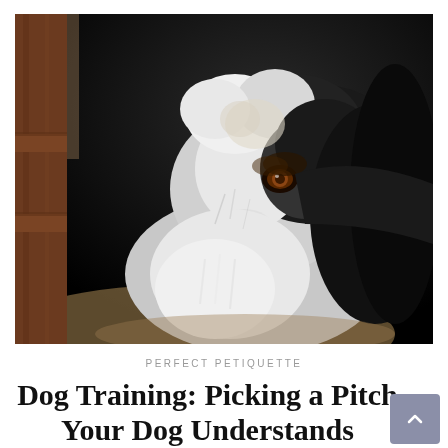[Figure (photo): Close-up photograph of a fluffy black and white mixed-breed dog (resembling a Bearded Collie or similar long-haired breed) sitting near a wooden chair against a dark background, looking upward to the right.]
PERFECT PETIQUETTE
Dog Training: Picking a Pitch Your Dog Understands